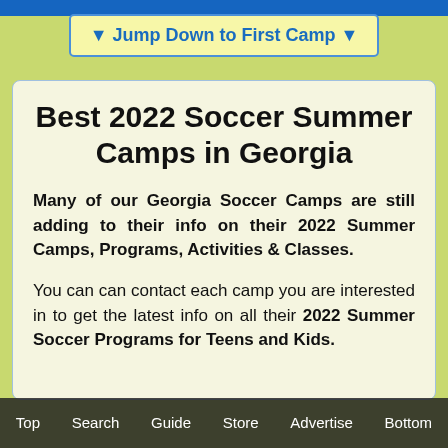▼ Jump Down to First Camp ▼
Best 2022 Soccer Summer Camps in Georgia
Many of our Georgia Soccer Camps are still adding to their info on their 2022 Summer Camps, Programs, Activities & Classes.
You can contact each camp you are interested in to get the latest info on all their 2022 Summer Soccer Programs for Teens and Kids.
Top   Search   Guide   Store   Advertise   Bottom